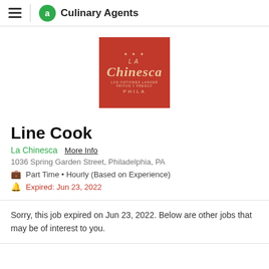Culinary Agents
[Figure (logo): La Chinesca restaurant logo — red square background with gold/cream text reading 'LA CHINESCA PHILA']
Line Cook
La Chinesca   More Info
1036 Spring Garden Street, Philadelphia, PA
Part Time • Hourly (Based on Experience)
Expired: Jun 23, 2022
Sorry, this job expired on Jun 23, 2022. Below are other jobs that may be of interest to you.